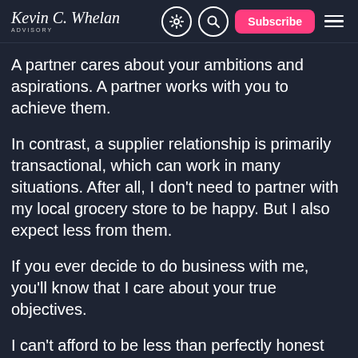Kevin C. Whelan
A partner cares about your ambitions and aspirations. A partner works with you to achieve them.
In contrast, a supplier relationship is primarily transactional, which can work in many situations. After all, I don't need to partner with my local grocery store to be happy. But I also expect less from them.
If you ever decide to do business with me, you'll know that I care about your true objectives.
I can't afford to be less than perfectly honest with my clients, nor them with me, and I take my time in the beginning to build the foundation for...